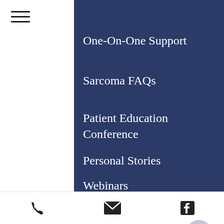One-On-One Support
Sarcoma FAQs
Patient Education Conference
Personal Stories
Webinars
Northwest Sarcoma Foundation
501(c)3 nonprofit organization
info@nwsarcoma.org
206-257-7215
117 E Louisa St #443
Seattle, WA 98102-3203